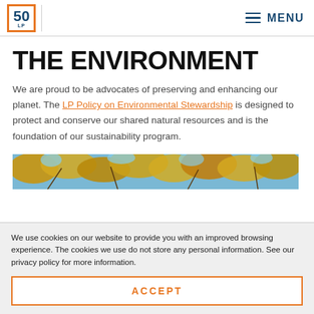50 LP | MENU
THE ENVIRONMENT
We are proud to be advocates of preserving and enhancing our planet. The LP Policy on Environmental Stewardship is designed to protect and conserve our shared natural resources and is the foundation of our sustainability program.
[Figure (photo): Looking up through autumn yellow and orange tree canopy against a blue sky]
We use cookies on our website to provide you with an improved browsing experience. The cookies we use do not store any personal information. See our privacy policy for more information.
ACCEPT